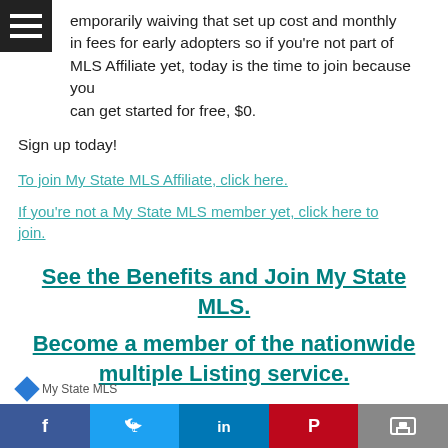[Figure (other): Hamburger menu icon (three white horizontal lines on dark background)]
temporarily waiving that set up cost and monthly in fees for early adopters so if you're not part of MLS Affiliate yet, today is the time to join because you can get started for free, $0.
Sign up today!
To join My State MLS Affiliate, click here.
If you're not a My State MLS member yet, click here to join.
See the Benefits and Join My State MLS.
Become a member of the nationwide multiple Listing service.
Facebook | Twitter | LinkedIn | Pinterest | Print